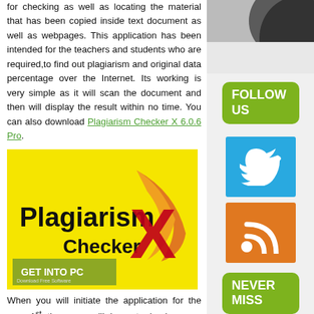for checking as well as locating the material that has been copied inside text document as well as webpages. This application has been intended for the teachers and students who are required,to find out plagiarism and original data percentage over the Internet. Its working is very simple as it will scan the document and then will display the result within no time. You can also download Plagiarism Checker X 6.0.6 Pro.
[Figure (photo): Plagiarism Checker X logo on yellow background with red X and orange swoosh, with GET INTO PC banner]
When you will initiate the application for the very 1st time you will have to load a new document. All the content will be displayed in the lower portion of the main
[Figure (photo): Partial dark photo in upper right corner of right sidebar]
FOLLOW US
[Figure (logo): Twitter bird icon on blue background]
[Figure (logo): RSS feed icon on orange background]
NEVER MISS